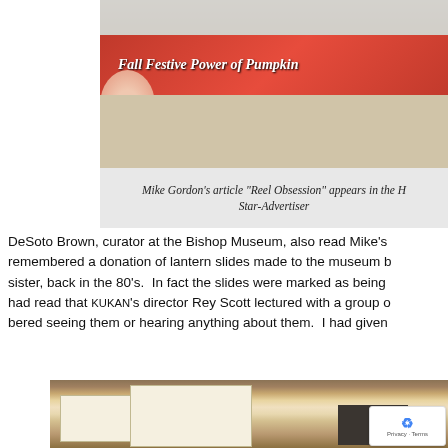[Figure (photo): Cropped newspaper page showing a red banner with italic text 'Fall Festive Power of Pumpkin' and a woman's face illustration]
Mike Gordon's article "Reel Obsession" appears in the Honolulu Star-Advertiser
DeSoto Brown, curator at the Bishop Museum, also read Mike's article and remembered a donation of lantern slides made to the museum by KUKAN's sister, back in the 80's.  In fact the slides were marked as being from KUKAN. I had read that KUKAN's director Rey Scott lectured with a group of slides. I remembered seeing them or hearing anything about them.  I had given
[Figure (photo): Photo of archival boxes and dark lantern slides on a wooden table, with a reCAPTCHA badge overlay in the bottom right corner]